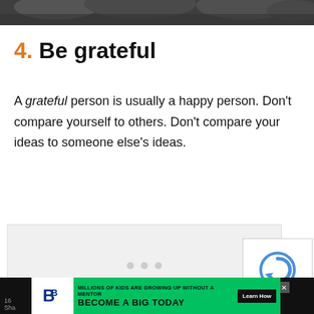[Figure (photo): Dark rocky/mountain photo cropped at top of page]
4. Be grateful
A grateful person is usually a happy person. Don't compare yourself to others. Don't compare your ideas to someone else's ideas.
[Figure (other): Advertisement loading placeholder with three dots]
[Figure (other): reCAPTCHA widget showing logo and Privacy - Terms links]
[Figure (other): Big Brothers Big Sisters advertisement banner: MILLIONS OF KIDS ARE GROWING UP WITHOUT A MENTOR. BECOME A BIG TODAY. Learn How.]